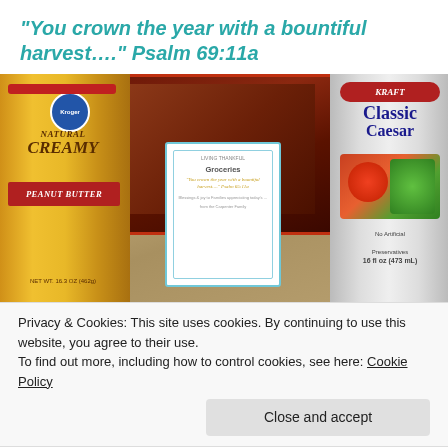"You crown the year with a bountiful harvest…." Psalm 69:11a
[Figure (photo): Photo of grocery items including a Kroger Natural Creamy Peanut Butter jar, a brownie mix box, and a Kraft Classic Caesar dressing bottle, with a decorative card in the center reading 'Groceries' and the psalm verse]
Privacy & Cookies: This site uses cookies. By continuing to use this website, you agree to their use.
To find out more, including how to control cookies, see here: Cookie Policy
Close and accept
"Make a joyful noise…" From Psalm 100